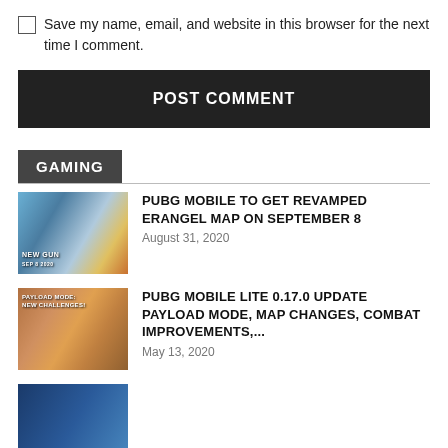Save my name, email, and website in this browser for the next time I comment.
POST COMMENT
GAMING
[Figure (photo): PUBG Mobile game screenshot with 'NEW GUN' text overlay]
PUBG MOBILE TO GET REVAMPED ERANGEL MAP ON SEPTEMBER 8
August 31, 2020
[Figure (photo): PUBG Mobile Lite payload mode screenshot]
PUBG MOBILE LITE 0.17.0 UPDATE PAYLOAD MODE, MAP CHANGES, COMBAT IMPROVEMENTS,...
May 13, 2020
[Figure (photo): Partial gaming screenshot at bottom of page]